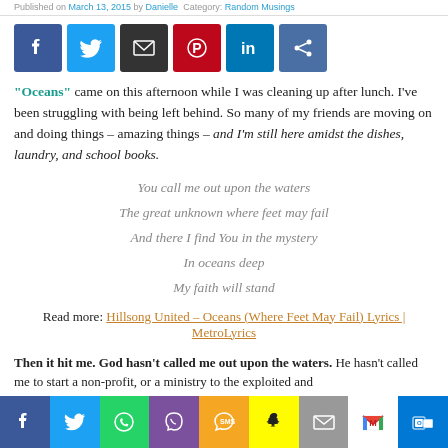Published on March 13, 2015 by Danielle  Category: Random Musings
[Figure (infographic): Social sharing icons: Facebook, Twitter, Email, Pinterest, LinkedIn, Share]
"Oceans" came on this afternoon while I was cleaning up after lunch. I've been struggling with being left behind. So many of my friends are moving on and doing things – amazing things – and I'm still here amidst the dishes, laundry, and school books.
You call me out upon the waters
The great unknown where feet may fail
And there I find You in the mystery
In oceans deep
My faith will stand
Read more: Hillsong United – Oceans (Where Feet May Fail) Lyrics | MetroLyrics
Then it hit me. God hasn't called me out upon the waters. He hasn't called me to start a non-profit, or a ministry to the exploited and
[Figure (infographic): Bottom social sharing bar: Facebook, Twitter, WhatsApp, Viber, SMS, Snapchat, Email, Gmail, Outlook]